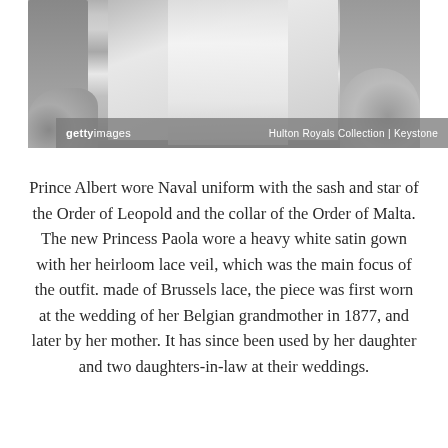[Figure (photo): Black and white wedding photograph showing the wedding party with bride in heavy white satin gown and long lace veil, groom in naval uniform, flanked by attendants and floral arrangements. Getty Images watermark bar at bottom with 'Hulton Royals Collection | Keystone' credit.]
Prince Albert wore Naval uniform with the sash and star of the Order of Leopold and the collar of the Order of Malta. The new Princess Paola wore a heavy white satin gown with her heirloom lace veil, which was the main focus of the outfit. made of Brussels lace, the piece was first worn at the wedding of her Belgian grandmother in 1877, and later by her mother. It has since been used by her daughter and two daughters-in-law at their weddings.